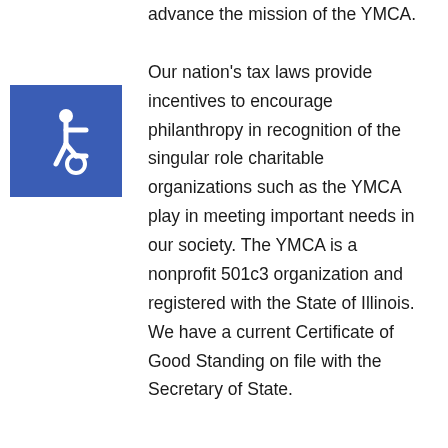advance the mission of the YMCA.

Our nation's tax laws provide incentives to encourage philanthropy in recognition of the singular role charitable organizations such as the YMCA play in meeting important needs in our society. The YMCA is a nonprofit 501c3 organization and registered with the State of Illinois. We have a current Certificate of Good Standing on file with the Secretary of State.
[Figure (illustration): Blue square background with white wheelchair accessibility symbol (person in wheelchair icon)]